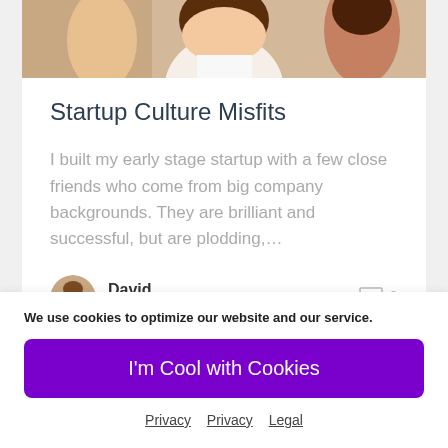[Figure (photo): Partial photo of people at the top of the card, cropped, showing smiling individuals]
Startup Culture Misfits
I built my early stage startup with a few close friends who come from big company backgrounds. They are brilliant and successful, but are plodding,…
David
January 18, 2021
We use cookies to optimize our website and our service.
I'm Cool with Cookies
Privacy  Privacy  Legal